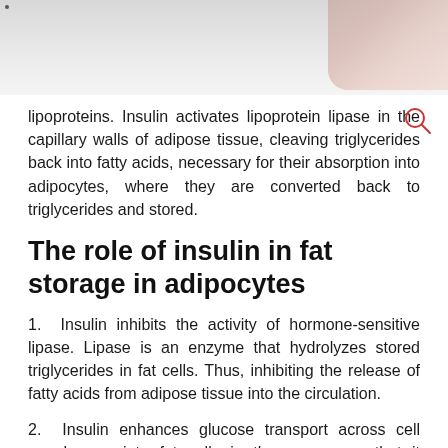[Figure (photo): Partial medical/clinical photo visible at top of page, largely cropped]
lipoproteins. Insulin activates lipoprotein lipase in the capillary walls of adipose tissue, cleaving triglycerides back into fatty acids, necessary for their absorption into adipocytes, where they are converted back to triglycerides and stored.
The role of insulin in fat storage in adipocytes
1. Insulin inhibits the activity of hormone-sensitive lipase. Lipase is an enzyme that hydrolyzes stored triglycerides in fat cells. Thus, inhibiting the release of fatty acids from adipose tissue into the circulation.
2. Insulin enhances glucose transport across cell membranes into fat cells in the same way that it increases